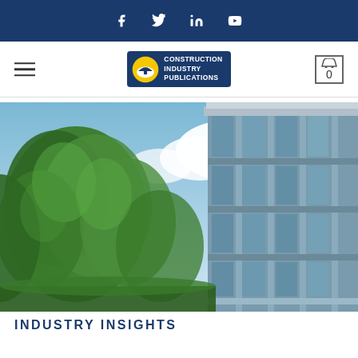Facebook Twitter LinkedIn YouTube social icons bar
[Figure (logo): Construction Industry Publications logo with hard hat icon on dark blue background]
[Figure (photo): Photograph of a modern glass curtain wall building with green trees in the foreground against a partly cloudy blue sky]
INDUSTRY INSIGHTS